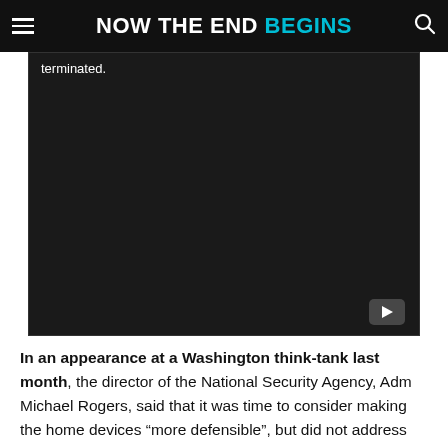NOW THE END BEGINS
[Figure (screenshot): Embedded video player with dark background, showing partial text 'terminated.' at top and a YouTube play button in the bottom right corner.]
In an appearance at a Washington think-tank last month, the director of the National Security Agency, Adm Michael Rogers, said that it was time to consider making the home devices “more defensible”, but did not address the opportunities that increased numbers and even categories of connected devices provide to his surveillance agency